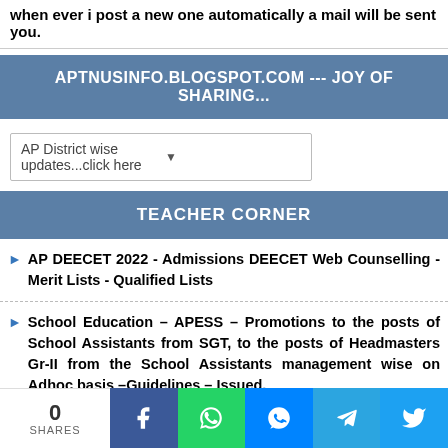when ever i post a new one automatically a mail will be sent you.
APTNUSINFO.BLOGSPOT.COM --- JOY OF SHARING...
AP District wise updates...click here
TEACHER CORNER
AP DEECET 2022 - Admissions DEECET Web Counselling - Merit Lists - Qualified Lists
School Education – APESS – Promotions to the posts of School Assistants from SGT, to the posts of Headmasters Gr-II from the School Assistants management wise on Adhoc basis –Guidelines – Issued.
School Education –School Education –RTE,2009 – Andhra Pradesh - Right of Children to Free and Compulsory Education Rules,2010–Implementation RTE 12 (1) (C)-Instructions issued-Regarding.
0 SHARES